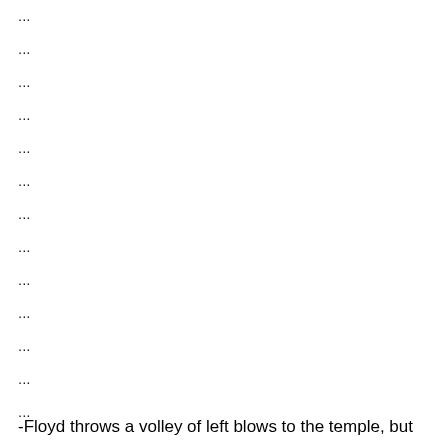...
...
...
...
...
...
...
...
...
...
...
...
...
...
...
...
...
...
-Floyd throws a volley of left blows to the temple, but